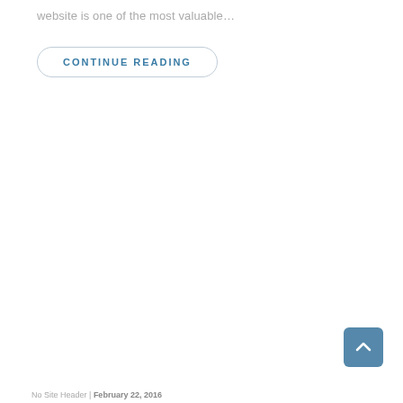website is one of the most valuable…
CONTINUE READING
No Site Header | February 22, 2016